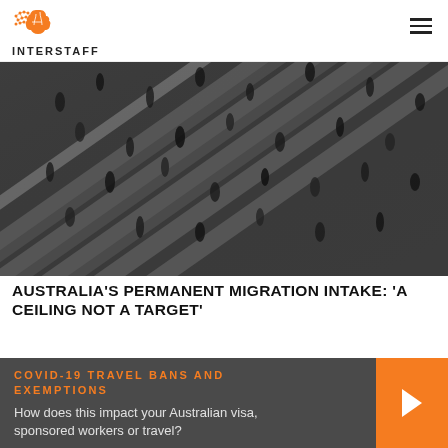INTERSTAFF
[Figure (photo): Aerial black and white photo of crowds of people crossing a zebra crossing, motion blurred, taken from above]
AUSTRALIA'S PERMANENT MIGRATION INTAKE: 'A CEILING NOT A TARGET'
COVID-19 TRAVEL BANS AND EXEMPTIONS
How does this impact your Australian visa, sponsored workers or travel?